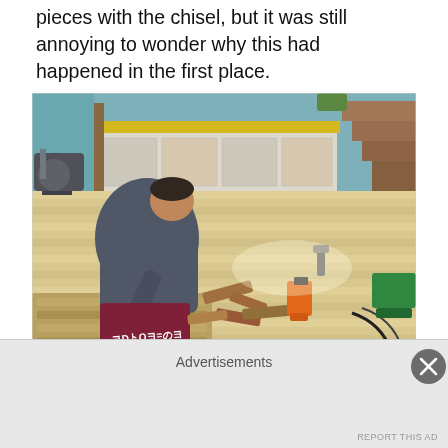pieces with the chisel, but it was still annoying to wonder why this had happened in the first place.
[Figure (photo): A person in a grey hoodie and maroon/burgundy work pants crouches on a partially installed hardwood floor, surrounded by wood flooring pieces and power tools including an orange tool and a red saw. White painted cabinets with a yellow countertop are visible in the background along with wooden stairs on the right side. A vacuum or pump machine is visible on the left.]
Advertisements